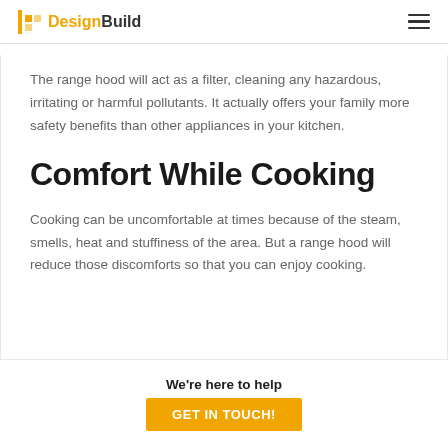DesignBuild
The range hood will act as a filter, cleaning any hazardous, irritating or harmful pollutants. It actually offers your family more safety benefits than other appliances in your kitchen.
Comfort While Cooking
Cooking can be uncomfortable at times because of the steam, smells, heat and stuffiness of the area. But a range hood will reduce those discomforts so that you can enjoy cooking.
We're here to help
GET IN TOUCH!